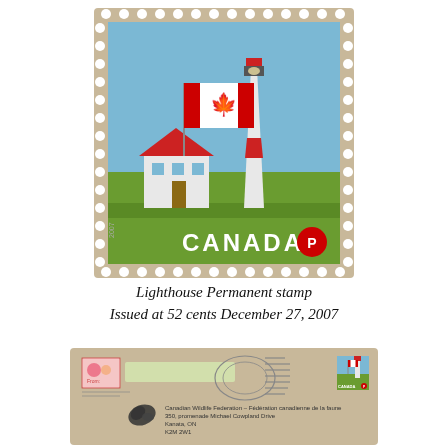[Figure (photo): Canadian postage stamp showing a lighthouse with a red and white striped top, a white keeper's house with red roof, green grass, blue sky, and a Canadian flag on a pole. Bottom of stamp reads 'CANADA' and has a red 'P' symbol. Stamp has perforated edges.]
Lighthouse Permanent stamp
Issued at 52 cents December 27, 2007
[Figure (photo): A tan/kraft paper envelope with a return address label area on the upper left, a postmark cancellation in the center, and a Canadian lighthouse stamp affixed in the upper right. The recipient address in the lower center area reads: Canadian Wildlife Federation / Fédération canadienne de la faune, 350, promenade Michael Cowpland Drive, Kanata, ON, K2M 2W1. A stylized eagle/hawk logo appears to the left of the address.]